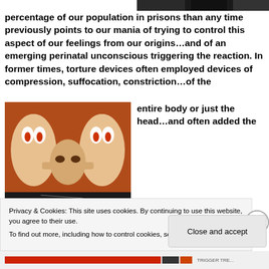[Figure (photo): Dark/black image strip at top right of page]
percentage of our population in prisons than any time previously points to our mania of trying to control this aspect of our feelings from our origins...and of an emerging perinatal unconscious triggering the reaction. In former times, torture devices often employed devices of compression, suffocation, constriction...of the entire body or just the head...and often added the
[Figure (photo): Photo of a man with two large masks or puppet faces with exaggerated eyes pressing against his face from both sides, orange/red background]
Privacy & Cookies: This site uses cookies. By continuing to use this website, you agree to their use.
To find out more, including how to control cookies, see here: Cookie Policy
Close and accept